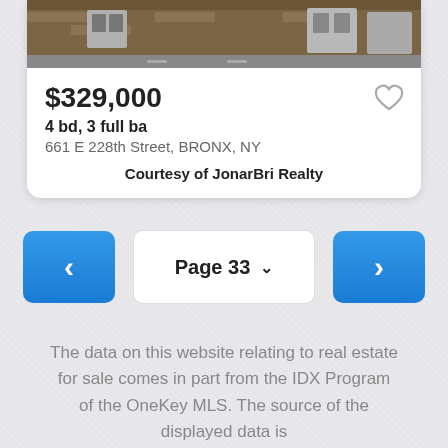[Figure (photo): Top portion of a building photo showing brick facade with windows, partially cropped at top]
$329,000
4 bd, 3 full ba
661 E 228th Street, BRONX, NY
Courtesy of JonarBri Realty
Page 33
The data on this website relating to real estate for sale comes in part from the IDX Program of the OneKey MLS. The source of the displayed data is